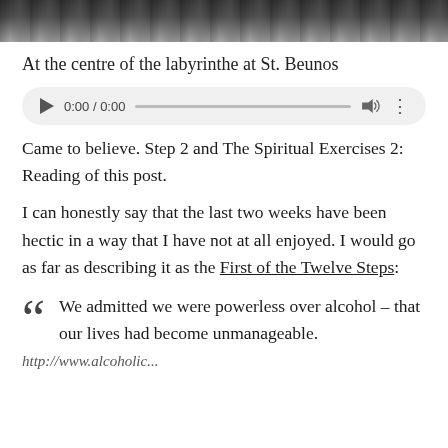[Figure (photo): Partial photograph at top of page, dark image likely of a labyrinth or outdoor scene at St. Beunos]
At the centre of the labyrinthe at St. Beunos
[Figure (screenshot): Audio player UI element showing 0:00 / 0:00 with play button, progress bar, volume icon and menu dots]
Came to believe. Step 2 and The Spiritual Exercises 2: Reading of this post.
I can honestly say that the last two weeks have been hectic in a way that I have not at all enjoyed. I would go as far as describing it as the First of the Twelve Steps:
We admitted we were powerless over alcohol – that our lives had become unmanageable.
http://www.alcoholic...